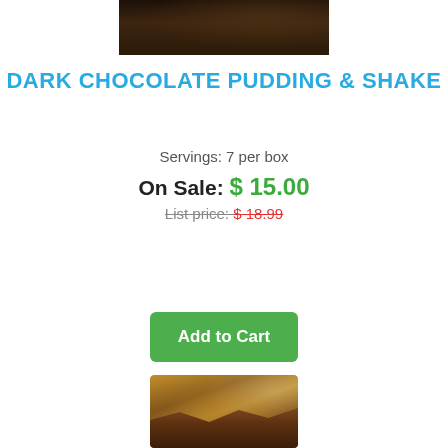[Figure (photo): Top portion of a dark chocolate product photo showing dark chocolate pieces on a wooden surface]
DARK CHOCOLATE PUDDING & SHAKE
Servings: 7 per box
On Sale: $ 15.00
List price: $ 18.99
[Figure (screenshot): Quantity spinner input showing value 0 with up and down arrows]
Add to Cart
[Figure (photo): Chocolate products including chocolate bars, marshmallows, and graham crackers arranged on a wooden surface]